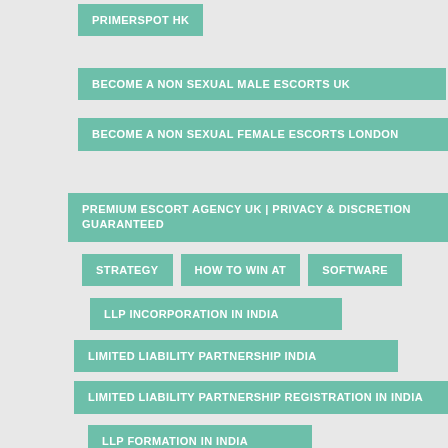PRIMERSPOT HK
BECOME A NON SEXUAL MALE ESCORTS UK
BECOME A NON SEXUAL FEMALE ESCORTS LONDON
PREMIUM ESCORT AGENCY UK | PRIVACY & DISCRETION GUARANTEED
STRATEGY
HOW TO WIN AT
SOFTWARE
LLP INCORPORATION IN INDIA
LIMITED LIABILITY PARTNERSHIP INDIA
LIMITED LIABILITY PARTNERSHIP REGISTRATION IN INDIA
LLP FORMATION IN INDIA
LLP REGISTRATION IN INDIA